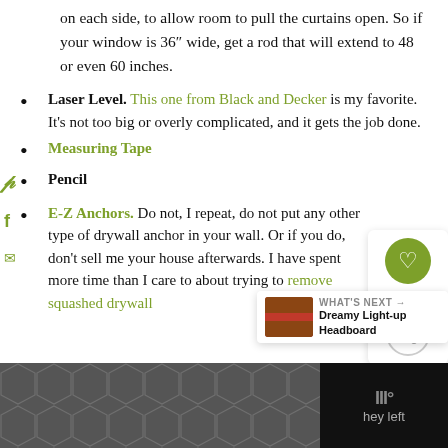on each side, to allow room to pull the curtains open. So if your window is 36" wide, get a rod that will extend to 48 or even 60 inches.
Laser Level. This one from Black and Decker is my favorite. It’s not too big or overly complicated, and it gets the job done.
Measuring Tape
Pencil
E-Z Anchors. Do not, I repeat, do not put any other type of drywall anchor in your wall. Or if you do, don’t sell me your house afterwards. I have spent more time than I care to about trying to remove squashed drywall
out of walls without damaging the ... hey left